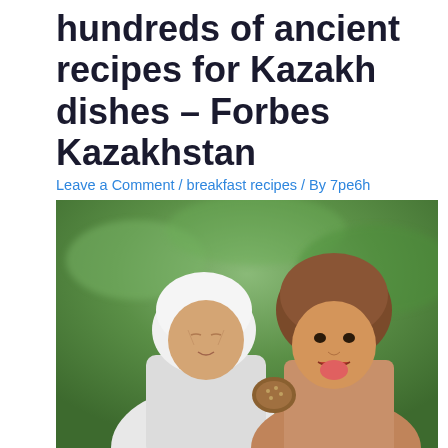hundreds of ancient recipes for Kazakh dishes – Forbes Kazakhstan
Leave a Comment / breakfast recipes / By 7pe6h
[Figure (photo): An elderly Kazakh woman wearing a white headscarf and a younger girl wearing a brown headscarf, both appearing to taste or lick something, with a green blurred background outdoors.]